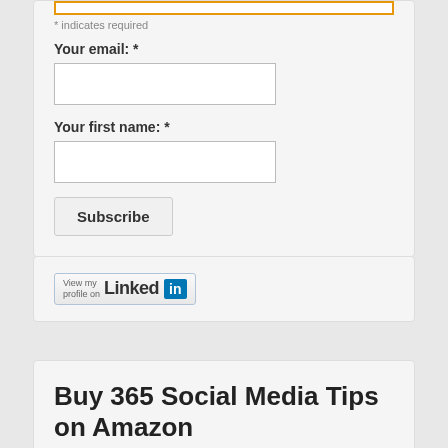* indicates required
Your email: *
Your first name: *
Subscribe
[Figure (logo): LinkedIn 'View my profile on' badge button]
Buy 365 Social Media Tips on Amazon